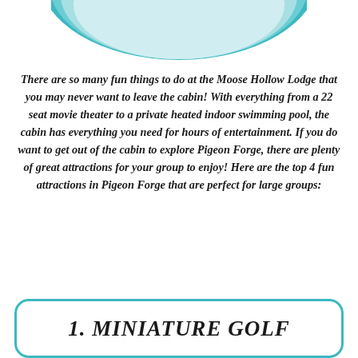[Figure (illustration): Decorative teal/aqua circular graphic at the top of the page, partially visible, with layered concentric teal and light blue arcs.]
There are so many fun things to do at the Moose Hollow Lodge that you may never want to leave the cabin! With everything from a 22 seat movie theater to a private heated indoor swimming pool, the cabin has everything you need for hours of entertainment. If you do want to get out of the cabin to explore Pigeon Forge, there are plenty of great attractions for your group to enjoy! Here are the top 4 fun attractions in Pigeon Forge that are perfect for large groups:
1. MINIATURE GOLF